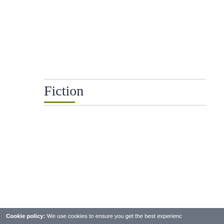Fiction
Cookie policy: We use cookies to ensure you get the best experience